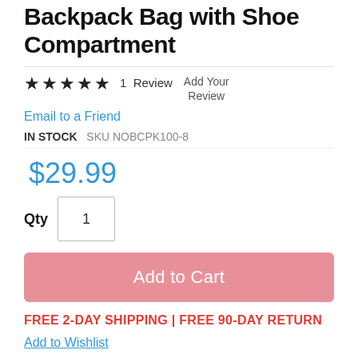Backpack Bag with Shoe Compartment
★★★★★ 1 Review  Add Your Review
Email to a Friend
IN STOCK  SKU NOBCPK100-8
$29.99
Qty 1
Add to Cart
FREE 2-DAY SHIPPING | FREE 90-DAY RETURN
Add to Wishlist